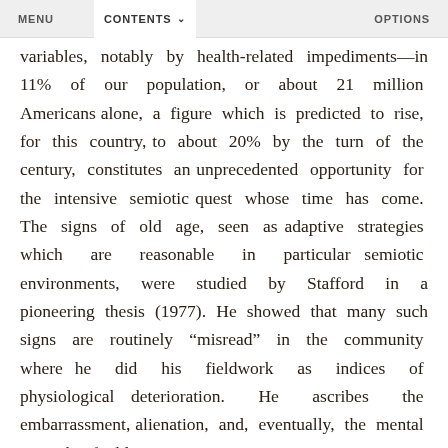MENU   CONTENTS   OPTIONS
variables, notably by health-related impediments—in 11% of our population, or about 21 million Americans alone, a figure which is predicted to rise, for this country, to about 20% by the turn of the century, constitutes an unprecedented opportunity for the intensive semiotic quest whose time has come. The signs of old age, seen as adaptive strategies which are reasonable in particular semiotic environments, were studied by Stafford in a pioneering thesis (1977). He showed that many such signs are routinely “misread” in the community where he did his fieldwork as indices of physiological deterioration. He ascribes the embarrassment, alienation, and, eventually, the mental anguish of old